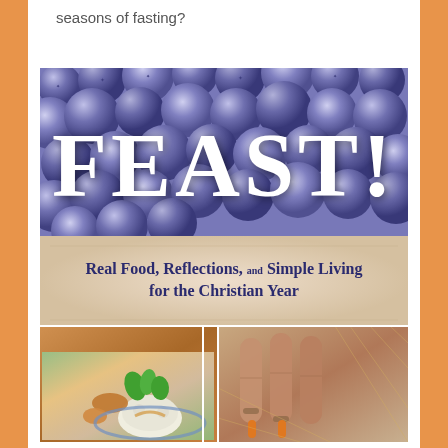seasons of fasting?
[Figure (illustration): Book cover for 'FEAST! Real Food, Reflections, and Simple Living for the Christian Year'. Top section shows blueberries with large white 'FEAST!' text. Middle section has a tan/beige band with subtitle text. Bottom section shows food photography collage including a grain/wheat background, a plate of food with couscous and meat, a dish with cauliflower and vegetables, and garden hands with carrots.]